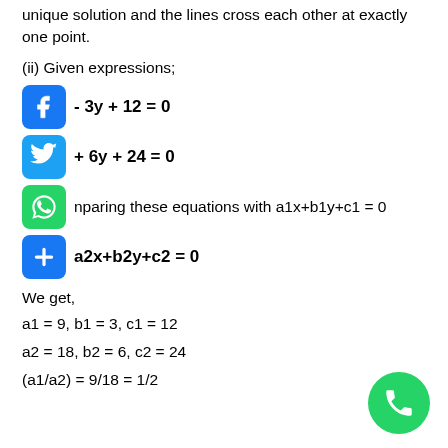unique solution and the lines cross each other at exactly one point.
(ii) Given expressions;
Comparing these equations with a1x+b1y+c1 = 0
We get,
a1 = 9, b1 = 3, c1 = 12
a2 = 18, b2 = 6, c2 = 24